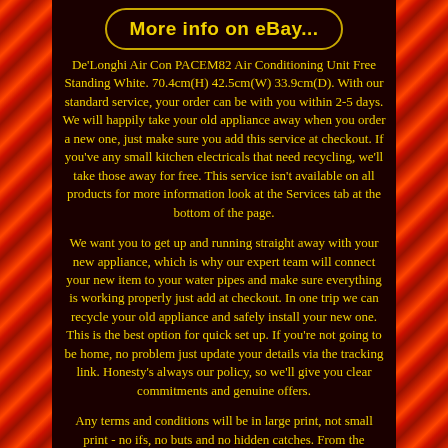[Figure (other): Button styled link reading 'More info on eBay...' with gold border on dark background]
De'Longhi Air Con PACEM82 Air Conditioning Unit Free Standing White. 70.4cm(H) 42.5cm(W) 33.9cm(D). With our standard service, your order can be with you within 2-5 days. We will happily take your old appliance away when you order a new one, just make sure you add this service at checkout. If you've any small kitchen electricals that need recycling, we'll take those away for free. This service isn't available on all products for more information look at the Services tab at the bottom of the page.
We want you to get up and running straight away with your new appliance, which is why our expert team will connect your new item to your water pipes and make sure everything is working properly just add at checkout. In one trip we can recycle your old appliance and safely install your new one. This is the best option for quick set up. If you're not going to be home, no problem just update your details via the tracking link. Honesty's always our policy, so we'll give you clear commitments and genuine offers.
Any terms and conditions will be in large print, not small print - no ifs, no buts and no hidden catches. From the